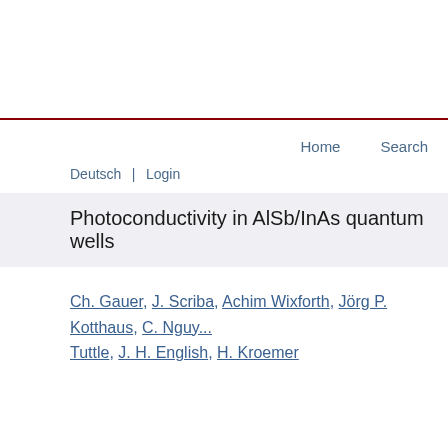Home   Search
Deutsch  |  Login
Photoconductivity in AlSb/InAs quantum wells
Ch. Gauer, J. Scriba, Achim Wixforth, Jörg P. Kotthaus, C. Nguy..., Tuttle, J. H. English, H. Kroemer